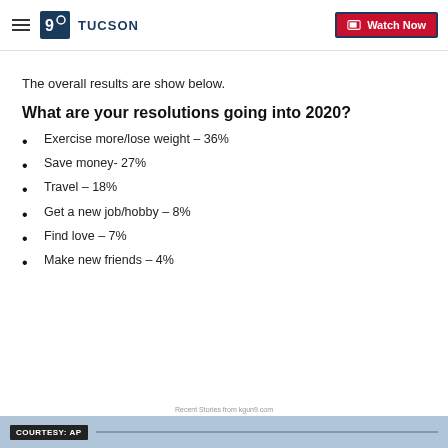9 TUCSON | Watch Now
The overall results are show below.
What are your resolutions going into 2020?
Exercise more/lose weight – 36%
Save money- 27%
Travel – 18%
Get a new job/hobby – 8%
Find love – 7%
Make new friends – 4%
Recent Stories from kgun9.com | COURTESY: AP